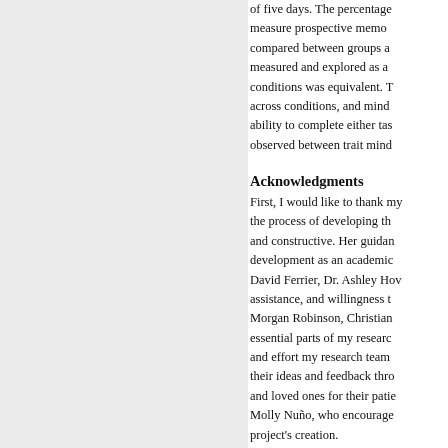of five days. The percentage measure prospective memo compared between groups a measured and explored as a conditions was equivalent. T across conditions, and mind ability to complete either tas observed between trait mind
Acknowledgments
First, I would like to thank my the process of developing th and constructive. Her guidan development as an academic David Ferrier, Dr. Ashley Ho assistance, and willingness t Morgan Robinson, Christian essential parts of my researc and effort my research team their ideas and feedback thr and loved ones for their pati Molly Nuño, who encourage project's creation.
Degree
M. S.: A thesis submitted to th